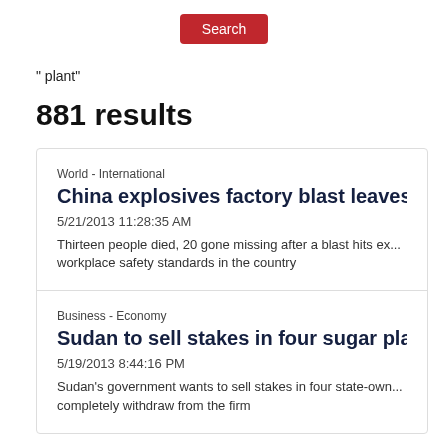[Figure (screenshot): Red Search button]
"plant"
881 results
World - International | China explosives factory blast leaves 13 de... | 5/21/2013 11:28:35 AM | Thirteen people died, 20 gone missing after a blast hits ex... workplace safety standards in the country
Business - Economy | Sudan to sell stakes in four sugar plants | 5/19/2013 8:44:16 PM | Sudan's government wants to sell stakes in four state-own... completely withdraw from the firm